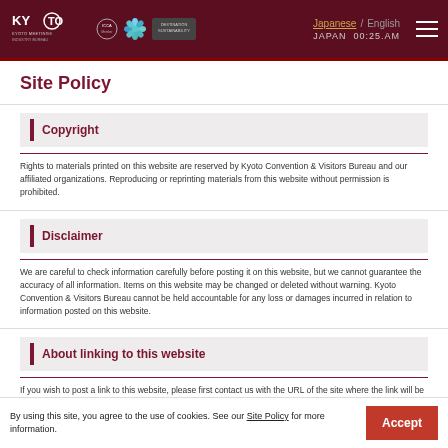KYOTO | Japanese / English | JAPAN 00:25 AM
Site Policy
Copyright
Rights to materials printed on this website are reserved by Kyoto Convention & Visitors Bureau and our affiliated organizations. Reproducing or reprinting materials from this website without permission is prohibited.
Disclaimer
We are careful to check information carefully before posting it on this website, but we cannot guarantee the accuracy of all information. Items on this website may be changed or deleted without warning. Kyoto Convention & Visitors Bureau cannot be held accountable for any loss or damages incurred in relation to information posted on this website.
About linking to this website
If you wish to post a link to this website, please first contact us with the URL of the site where the link will be posted, information about the contents of the website, and the reason for posting the link. We may refuse to allow links that are not in line with the purpose of this website.
By using this site, you agree to the use of cookies. See our Site Policy for more information.